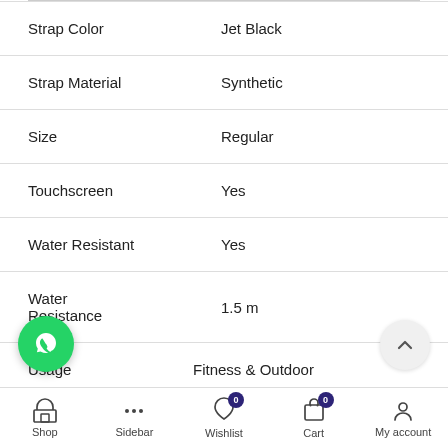| Attribute | Value |
| --- | --- |
| Strap Color | Jet Black |
| Strap Material | Synthetic |
| Size | Regular |
| Touchscreen | Yes |
| Water Resistant | Yes |
| Water Resistance | 1.5 m |
| Usage | Fitness & Outdoor |
Shop  Sidebar  Wishlist 0  Cart 0  My account